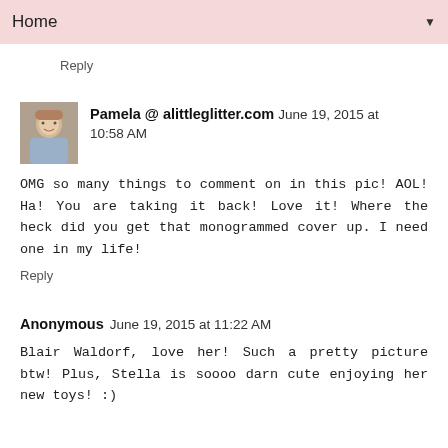Home ▼
Reply
Pamela @ alittleglitter.com  June 19, 2015 at 10:58 AM
OMG so many things to comment on in this pic! AOL! Ha! You are taking it back! Love it! Where the heck did you get that monogrammed cover up. I need one in my life!
Reply
Anonymous  June 19, 2015 at 11:22 AM
Blair Waldorf, love her! Such a pretty picture btw! Plus, Stella is soooo darn cute enjoying her new toys! :)